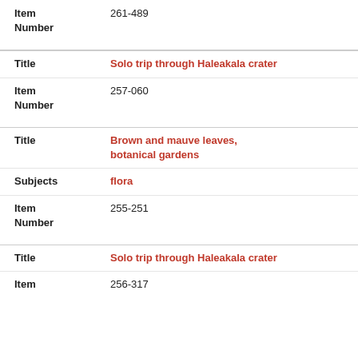Item Number: 261-489
Title: Solo trip through Haleakala crater
Item Number: 257-060
Title: Brown and mauve leaves, botanical gardens
Subjects: flora
Item Number: 255-251
Title: Solo trip through Haleakala crater
Item: 256-317